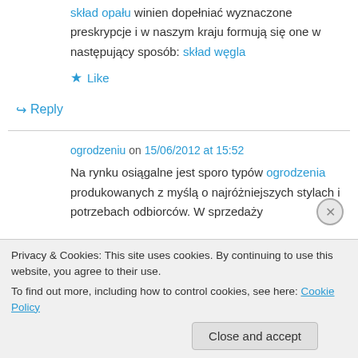skład opału winien dopełniać wyznaczone preskrypcje i w naszym kraju formują się one w następujący sposób: skład węgla
★ Like
↪ Reply
ogrodzeniu on 15/06/2012 at 15:52
Na rynku osiągalne jest sporo typów ogrodzenia produkowanych z myślą o najróżniejszych stylach i potrzebach odbiorców. W sprzedaży
Privacy & Cookies: This site uses cookies. By continuing to use this website, you agree to their use.
To find out more, including how to control cookies, see here: Cookie Policy
Close and accept